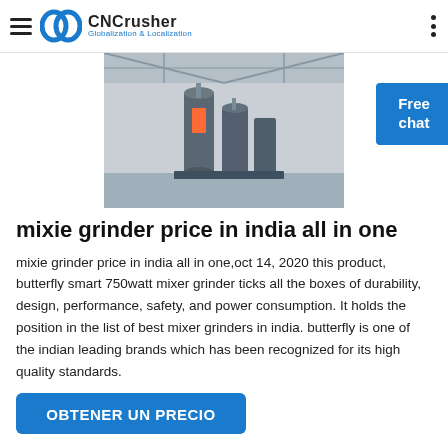CNCrusher Globalization & Localization
[Figure (photo): Industrial grinding/mixing machinery in a large factory warehouse setting with steel trusses overhead]
mixie grinder price in india all in one
mixie grinder price in india all in one,oct 14, 2020 this product, butterfly smart 750watt mixer grinder ticks all the boxes of durability, design, performance, safety, and power consumption. It holds the position in the list of best mixer grinders in india. butterfly is one of the indian leading brands which has been recognized for its high quality standards.
OBTENER UN PRECIO